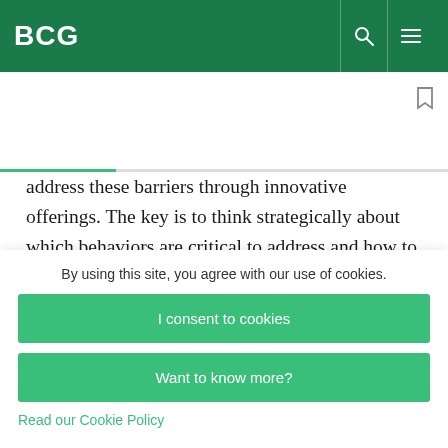BCG
address these barriers through innovative offerings. The key is to think strategically about which behaviors are critical to address and how to do so.
Several approaches have proved successful across
By using this site, you agree with our use of cookies.
I consent to cookies
Want to know more?
Read our Cookie Policy